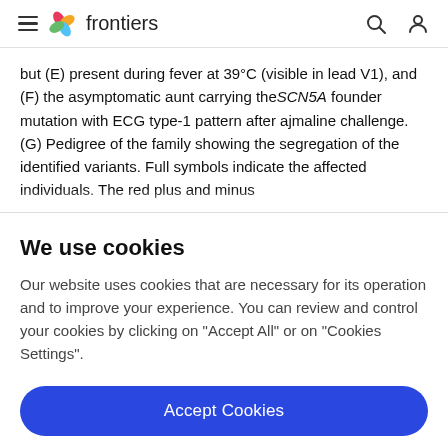frontiers
but (E) present during fever at 39°C (visible in lead V1), and (F) the asymptomatic aunt carrying the SCN5A founder mutation with ECG type-1 pattern after ajmaline challenge. (G) Pedigree of the family showing the segregation of the identified variants. Full symbols indicate the affected individuals. The red plus and minus
We use cookies
Our website uses cookies that are necessary for its operation and to improve your experience. You can review and control your cookies by clicking on "Accept All" or on "Cookies Settings".
Accept Cookies
Cookies Settings